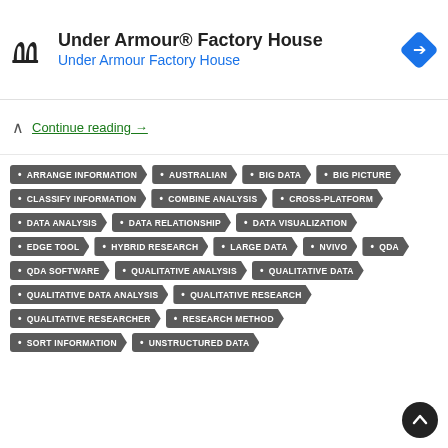[Figure (screenshot): Under Armour Factory House ad banner with logo, title text, and blue navigation arrow icon]
Continue reading →
ARRANGE INFORMATION
AUSTRALIAN
BIG DATA
BIG PICTURE
CLASSIFY INFORMATION
COMBINE ANALYSIS
CROSS-PLATFORM
DATA ANALYSIS
DATA RELATIONSHIP
DATA VISUALIZATION
EDGE TOOL
HYBRID RESEARCH
LARGE DATA
NVIVO
QDA
QDA SOFTWARE
QUALITATIVE ANALYSIS
QUALITATIVE DATA
QUALITATIVE DATA ANALYSIS
QUALITATIVE RESEARCH
QUALITATIVE RESEARCHER
RESEARCH METHOD
SORT INFORMATION
UNSTRUCTURED DATA